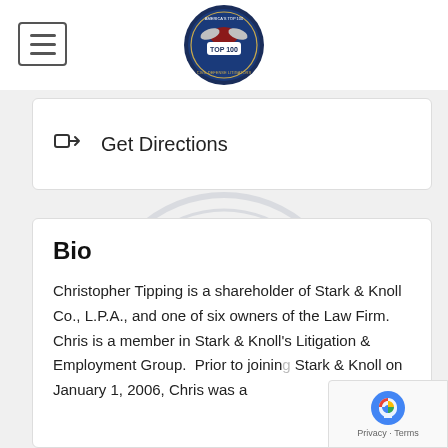[Figure (logo): America's Top 100 Civil Defense Litigators badge/seal in circular format with eagle and TOP 100 text]
Get Directions
Bio
Christopher Tipping is a shareholder of Stark & Knoll Co., L.P.A., and one of six owners of the Law Firm.  Chris is a member in Stark & Knoll's Litigation & Employment Group.  Prior to joining Stark & Knoll on January 1, 2006, Chris was a